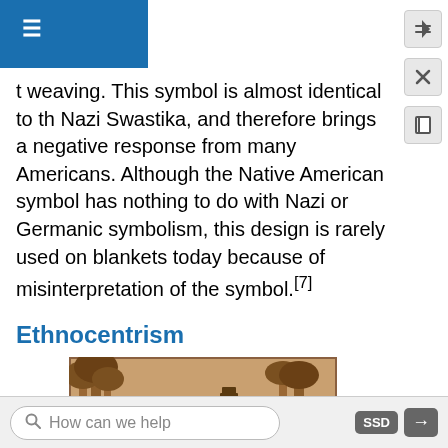t weaving. This symbol is almost identical to the Nazi Swastika, and therefore brings a negative response from many Americans. Although the Native American symbol has nothing to do with Nazi or Germanic symbolism, this design is rarely used on blankets today because of misinterpretation of the symbol.[7]
Ethnocentrism
[Figure (photo): Relief sculpture titled 'Colonization of New England' showing early settlers cutting and sawing trees and using lumber to construct a building.]
Figure 1.1.10: "Colonization of New England" - Early settlers cut and saw trees and use the lumber to construct a building, possibly a warehouse for their
How can we help